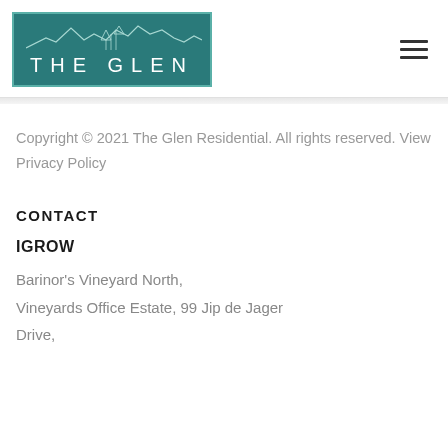[Figure (logo): The Glen Residential logo — teal/dark green rectangle with mountain silhouette illustration and white text 'THE GLEN']
Copyright © 2021 The Glen Residential. All rights reserved. View Privacy Policy
CONTACT
IGROW
Barinor's Vineyard North, Vineyards Office Estate, 99 Jip de Jager Drive,